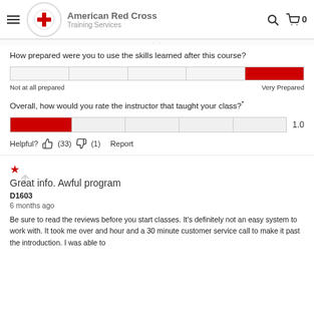American Red Cross Training Services
How prepared were you to use the skills learned after this course?
[Figure (other): A 5-segment horizontal rating bar with the last segment filled in red, indicating 'Very Prepared' selection]
Not at all prepared    Very Prepared
Overall, how would you rate the instructor that taught your class?*
[Figure (other): A horizontal rating bar with the first segment filled in red showing a score of 1.0]
Helpful? (33) (1) Report
Great info. Awful program
D1603
6 months ago
Be sure to read the reviews before you start classes. It’s definitely not an easy system to work with. It took me over and hour and a 30 minute customer service call to make it past the introduction. I was able to